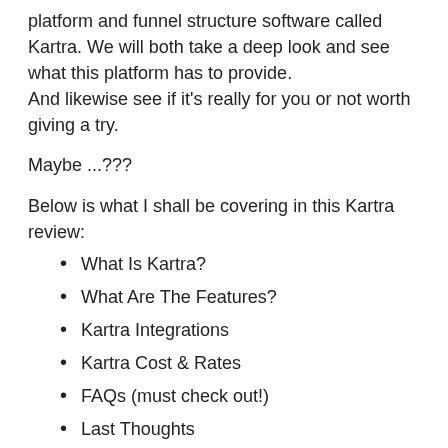platform and funnel structure software called Kartra. We will both take a deep look and see what this platform has to provide. And likewise see if it's really for you or not worth giving a try.
Maybe ...???
Below is what I shall be covering in this Kartra review:
What Is Kartra?
What Are The Features?
Kartra Integrations
Kartra Cost & Rates
FAQs (must check out!)
Last Thoughts